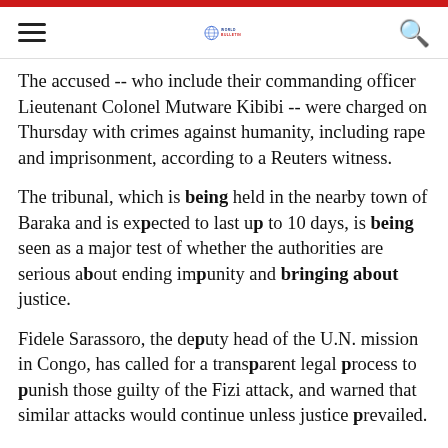World Bulletin
The accused -- who include their commanding officer Lieutenant Colonel Mutware Kibibi -- were charged on Thursday with crimes against humanity, including rape and imprisonment, according to a Reuters witness.
The tribunal, which is being held in the nearby town of Baraka and is expected to last up to 10 days, is being seen as a major test of whether the authorities are serious about ending impunity and bringing about justice.
Fidele Sarassoro, the deputy head of the U.N. mission in Congo, has called for a transparent legal process to punish those guilty of the Fizi attack, and warned that similar attacks would continue unless justice prevailed.